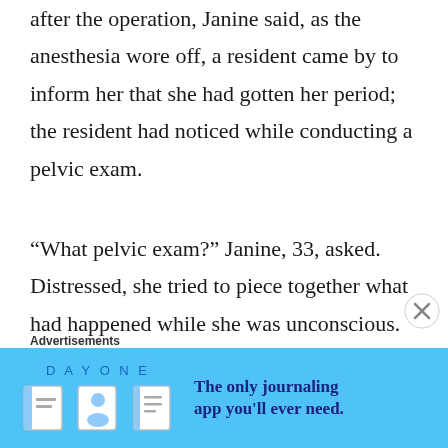after the operation, Janine said, as the anesthesia wore off, a resident came by to inform her that she had gotten her period; the resident had noticed while conducting a pelvic exam.
“What pelvic exam?” Janine, 33, asked. Distressed, she tried to piece together what had happened while she was unconscious. Why had her sexual organs been inspected during an abdominal
Advertisements
[Figure (other): DAY ONE journaling app advertisement banner with blue background, icons of a journal, person, and notebook, with text: The only journaling app you'll ever need.]